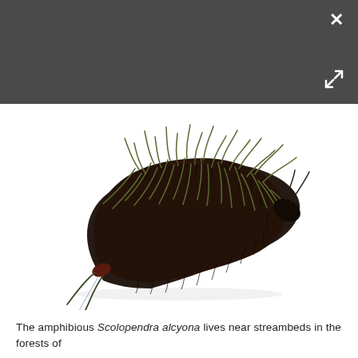[Figure (photo): Close-up photograph of a dark brown centipede (Scolopendra alcyona) with many long curved legs, coiled on a white background. The centipede has a segmented body with sharp spiny legs extending from each segment.]
The amphibious Scolopendra alcyona lives near streambeds in the forests of